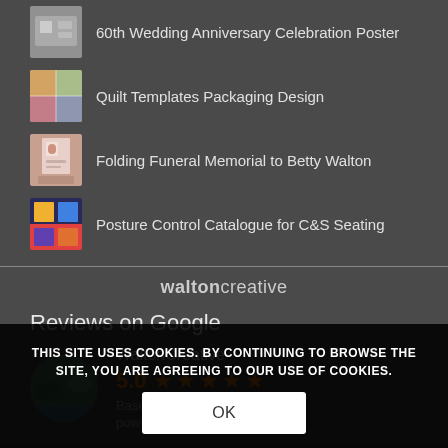60th Wedding Anniversary Celebration Poster
Quilt Templates Packaging Design
Folding Funeral Memorial to Betty Walton
Posture Control Catalogue for C&S Seating
waltoncreative
Reviews on Google
WaltonCreative
5.0 ★★★★★
Based on 5 reviews
powered by Google
THIS SITE USES COOKIES. BY CONTINUING TO BROWSE THE SITE, YOU ARE AGREEING TO OUR USE OF COOKIES.
OK
Diana Chick